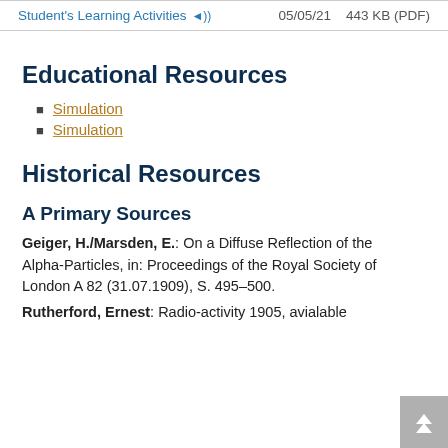Student's Learning Activities 05/05/21 443 KB (PDF)
Educational Resources
Simulation
Simulation
Historical Resources
A Primary Sources
Geiger, H./Marsden, E.: On a Diffuse Reflection of the Alpha-Particles, in: Proceedings of the Royal Society of London A 82 (31.07.1909), S. 495–500.
Rutherford, Ernest: Radio-activity 1905, avialable